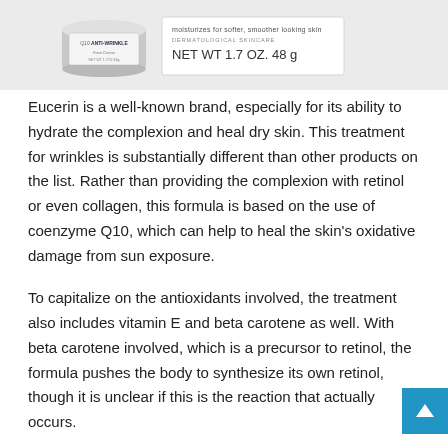[Figure (photo): Photo of Eucerin Q10 Anti-Wrinkle Face Cream product jar with label showing NET WT 1.7 OZ. 48g]
Eucerin is a well-known brand, especially for its ability to hydrate the complexion and heal dry skin. This treatment for wrinkles is substantially different than other products on the list. Rather than providing the complexion with retinol or even collagen, this formula is based on the use of coenzyme Q10, which can help to heal the skin's oxidative damage from sun exposure.
To capitalize on the antioxidants involved, the treatment also includes vitamin E and beta carotene as well. With beta carotene involved, which is a precursor to retinol, the formula pushes the body to synthesize its own retinol, though it is unclear if this is the reaction that actually occurs.
This anti-wrinkle cream is available via Amazon for $7.52